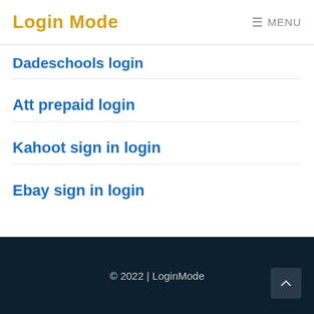Login Mode
Dadeschools login
Att prepaid login
Kahoot sign in login
Ebay sign in login
© 2022 | LoginMode